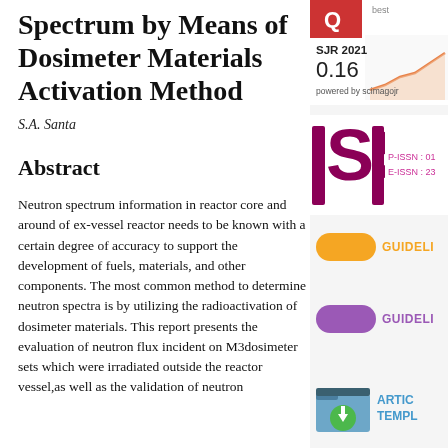Spectrum by Means of Dosimeter Materials Activation Method
S.A. Santa
Abstract
Neutron spectrum information in reactor core and around of ex-vessel reactor needs to be known with a certain degree of accuracy to support the development of fuels, materials, and other components. The most common method to determine neutron spectra is by utilizing the radioactivation of dosimeter materials. This report presents the evaluation of neutron flux incident on M3dosimeter sets which were irradiated outside the reactor vessel,as well as the validation of neutron
[Figure (infographic): SJR 2021 score of 0.16 with a line chart trend, powered by scimagojr]
[Figure (logo): ISSN logo with P-ISSN and E-ISSN numbers partially visible]
[Figure (infographic): Orange pill/button labeled GUIDELI...]
[Figure (infographic): Purple pill/button labeled GUIDELI...]
[Figure (infographic): Article template download icon with folder and download arrow, labeled ARTIC TEMPL...]